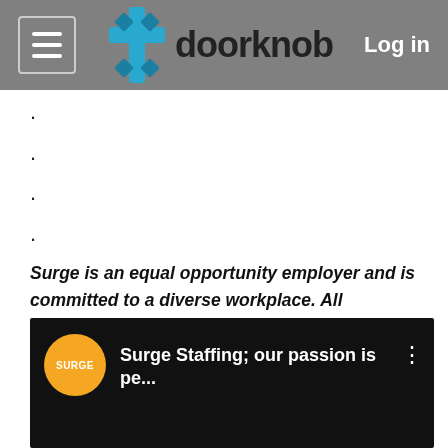doorknob — Log in
.
.
.
.
Surge is an equal opportunity employer and is committed to a diverse workplace. All employment decisions are made on the basis of qualifications, merit, and business need, without regard to race, color, religion, sex, sexual orientation, gender identity, national origin, disability, or veteran status.
[Figure (screenshot): Video thumbnail showing Surge Staffing branding with orange circle logo and text 'Surge Staffing; our passion is pe...' on dark background]